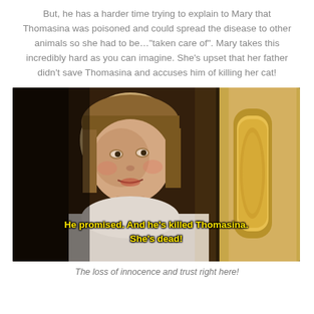But, he has a harder time trying to explain to Mary that Thomasina was poisoned and could spread the disease to other animals so she had to be…"taken care of". Mary takes this incredibly hard as you can imagine. She's upset that her father didn't save Thomasina and accuses him of killing her cat!
[Figure (screenshot): A movie screenshot showing a young girl with short blonde hair, looking upset or tearful, leaning against a door with a brass door plate. Yellow subtitle text reads: 'He promised. And he's killed Thomasina. She's dead!']
The loss of innocence and trust right here!